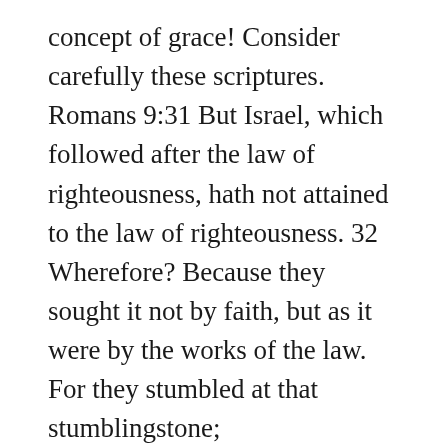concept of grace! Consider carefully these scriptures. Romans 9:31 But Israel, which followed after the law of righteousness, hath not attained to the law of righteousness. 32 Wherefore? Because they sought it not by faith, but as it were by the works of the law. For they stumbled at that stumblingstone;
Romans 10:3 For they being ignorant of God's righteousness, and going about to establish their own righteousness, have not submitted themselves unto the righteousness of God. 4 For Christ is the end of the law for righteousness to every one that believeth. 5 For Moses describeth the righteousness which is of the law, That the man which doeth those things shall live by them.